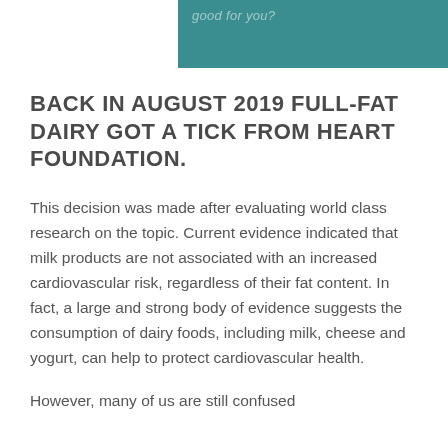good for you?
BACK IN AUGUST 2019 FULL-FAT DAIRY GOT A TICK FROM HEART FOUNDATION.
This decision was made after evaluating world class research on the topic. Current evidence indicated that milk products are not associated with an increased cardiovascular risk, regardless of their fat content. In fact, a large and strong body of evidence suggests the consumption of dairy foods, including milk, cheese and yogurt, can help to protect cardiovascular health.
However, many of us are still confused